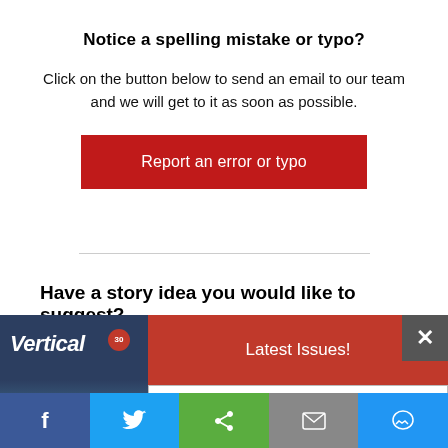Notice a spelling mistake or typo?
Click on the button below to send an email to our team and we will get to it as soon as possible.
Report an error or typo
Have a story idea you would like to suggest?
[Figure (screenshot): Popup overlay showing a Vertical magazine cover image on the left, a close button (X) in the upper right, a red 'Latest Issues!' button, and a 'Subscribe today!' button below.]
[Figure (infographic): Social sharing bar with Facebook, Twitter, share, email, and Messenger icons.]